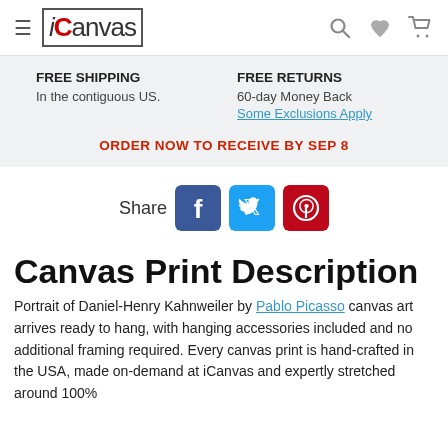iCanvas — navigation bar with menu, logo, search, wishlist, cart
FREE SHIPPING
In the contiguous US.
FREE RETURNS
60-day Money Back
Some Exclusions Apply
ORDER NOW TO RECEIVE BY SEP 8
Share
Canvas Print Description
Portrait of Daniel-Henry Kahnweiler by Pablo Picasso canvas art arrives ready to hang, with hanging accessories included and no additional framing required. Every canvas print is hand-crafted in the USA, made on-demand at iCanvas and expertly stretched around 100%